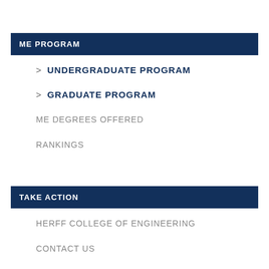ME PROGRAM
> UNDERGRADUATE PROGRAM
> GRADUATE PROGRAM
ME DEGREES OFFERED
RANKINGS
TAKE ACTION
HERFF COLLEGE OF ENGINEERING
CONTACT US